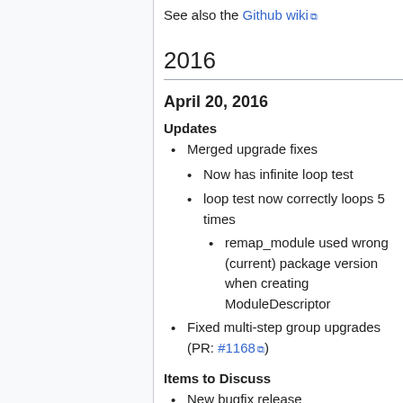See also the Github wiki
2016
April 20, 2016
Updates
Merged upgrade fixes
Now has infinite loop test
loop test now correctly loops 5 times
remap_module used wrong (current) package version when creating ModuleDescriptor
Fixed multi-step group upgrades (PR: #1168)
Items to Discuss
New bugfix release